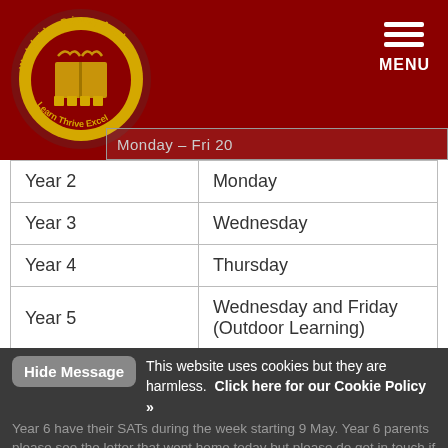Wadebridge Primary Academy — Learn Thrive Excel
| Year Group | Day |
| --- | --- |
| Year 2 | Monday |
| Year 3 | Wednesday |
| Year 4 | Thursday |
| Year 5 | Wednesday and Friday (Outdoor Learning) |
| Year 6 | Tuesday |
This website uses cookies but they are harmless. Click here for our Cookie Policy »
Year 6 have their SATs during the week starting 9 May. Year 6 parents please see the letter that went home today but please do get in touch if you have